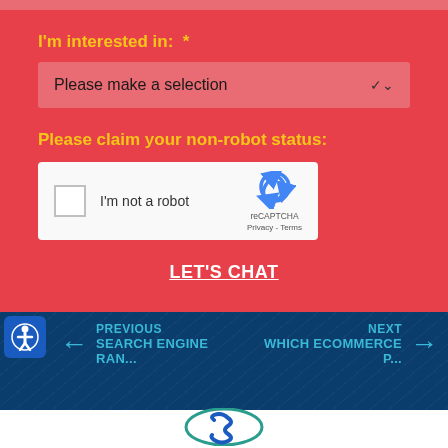I'm interested in: *
[Figure (screenshot): Dropdown selector showing 'Please make a selection' with chevron]
Please claim your non-robot status:
[Figure (screenshot): reCAPTCHA widget with checkbox labeled 'I'm not a robot', reCAPTCHA logo, Privacy and Terms links]
LET'S CHAT
PREVIOUS
SEARCH ENGINE RAN...
NEXT
WHICH ECOMMERCE P...
[Figure (logo): Company logo - stylized S shape in teal/blue circular design]